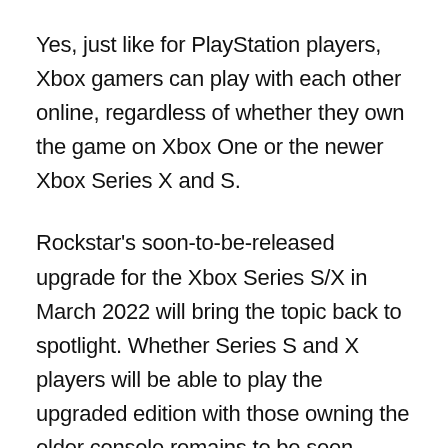Yes, just like for PlayStation players, Xbox gamers can play with each other online, regardless of whether they own the game on Xbox One or the newer Xbox Series X and S.
Rockstar's soon-to-be-released upgrade for the Xbox Series S/X in March 2022 will bring the topic back to spotlight. Whether Series S and X players will be able to play the upgraded edition with those owning the older console remains to be seen.